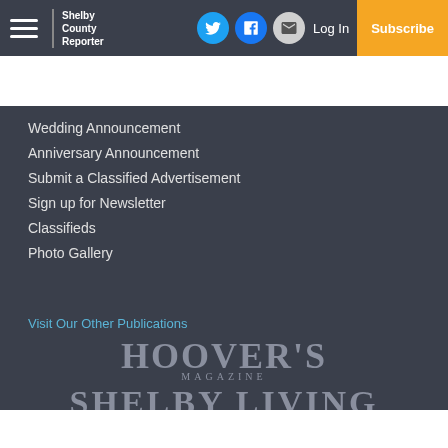Shelby County Reporter | Log In | Subscribe
Wedding Announcement
Anniversary Announcement
Submit a Classified Advertisement
Sign up for Newsletter
Classifieds
Photo Gallery
Visit Our Other Publications
HOOVER'S MAGAZINE
SHELBY LIVING
VESTAVIA HILLS MAGAZINE